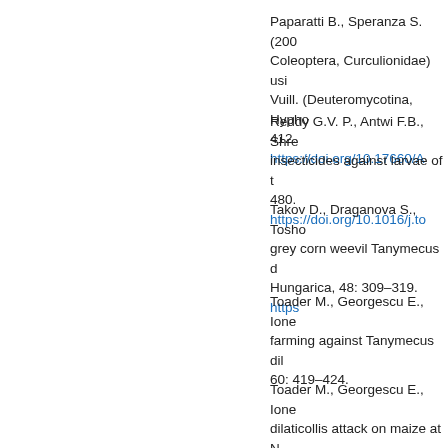Paparatti B., Speranza S. (200... Coleoptera, Curculionidae) usi... Vuill. (Deuteromycotina, Hypho... 412. https://doi.org/10.17660/A
Reddy G.V. P., Antwi F.B., Shre... insecticides against larvae of t... 480. https://doi.org/10.1016/j.to
Takov D., Draganova S., Tosho... grey corn weevil Tanymecus d... Hungarica, 48: 309–319. https
Toader M., Georgescu E., Ione... farming against Tanymecus dil... 60: 419–424.
Toader M., Georgescu E., Ione... dilaticollis attack on maize at N... 32–38. https://doi.org/10.1016